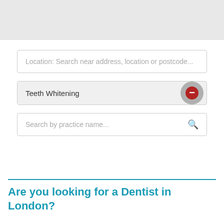[Figure (screenshot): Light grey map area at the top of the page]
Location: Search near address, location or postcode...
Teeth Whitening
Search by practice name...
Are you looking for a Dentist in London?